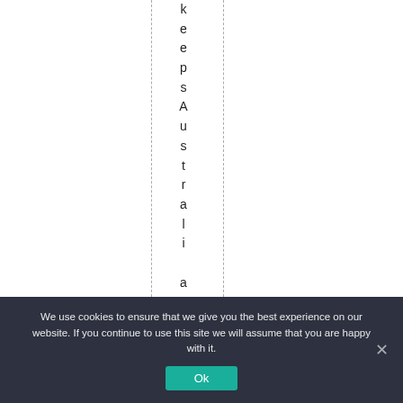keepsAustralia going
We use cookies to ensure that we give you the best experience on our website. If you continue to use this site we will assume that you are happy with it.